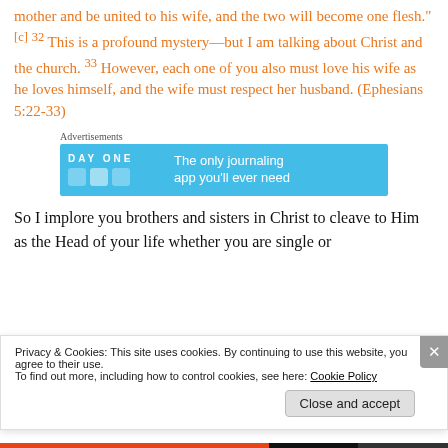mother and be united to his wife, and the two will become one flesh."[c] 32 This is a profound mystery—but I am talking about Christ and the church. 33 However, each one of you also must love his wife as he loves himself, and the wife must respect her husband. (Ephesians 5:22-33)
Advertisements
[Figure (other): Advertisement banner for DAY ONE journaling app with blue background showing app icons and text 'The only journaling app you'll ever need']
So I implore you brothers and sisters in Christ to cleave to Him as the Head of your life whether you are single or
Privacy & Cookies: This site uses cookies. By continuing to use this website, you agree to their use.
To find out more, including how to control cookies, see here: Cookie Policy
Close and accept